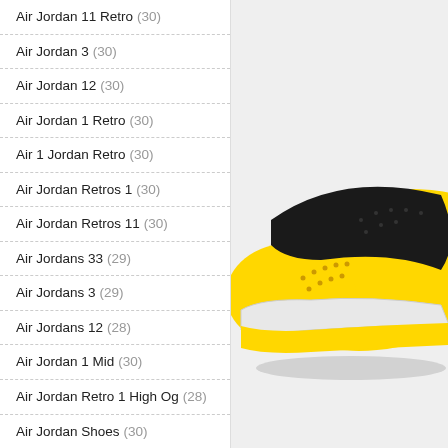Air Jordan 11 Retro (30)
Air Jordan 3 (30)
Air Jordan 12 (30)
Air Jordan 1 Retro (30)
Air 1 Jordan Retro (30)
Air Jordan Retros 1 (30)
Air Jordan Retros 11 (30)
Air Jordans 33 (29)
Air Jordans 3 (29)
Air Jordans 12 (28)
Air Jordan 1 Mid (30)
Air Jordan Retro 1 High Og (28)
Air Jordan Shoes (30)
Air Jordan 13 (29)
Air Jordan Mid 1 (29)
[Figure (photo): Close-up of a yellow, black, and white Air Jordan sneaker, showing the toe and sole from a side/front angle on a light grey background.]